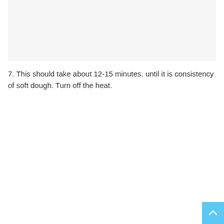[Figure (photo): Image placeholder with light gray background, likely showing a cooking or food preparation step.]
7. This should take about 12-15 minutes. until it is consistency of soft dough. Turn off the heat.